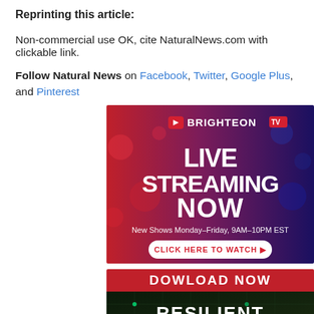Reprinting this article:
Non-commercial use OK, cite NaturalNews.com with clickable link.
Follow Natural News on Facebook, Twitter, Google Plus, and Pinterest
[Figure (illustration): Brighteon TV Live Streaming Now ad banner. Red and blue background with BRIGHTEON TV logo and text: LIVE STREAMING NOW, New Shows Monday–Friday, 9AM–10PM EST, CLICK HERE TO WATCH]
[Figure (illustration): Download Now Resilient Prepping ad banner. Red header with DOWLOAD NOW text and RESILIENT PREPPING text on dark circuit board background.]